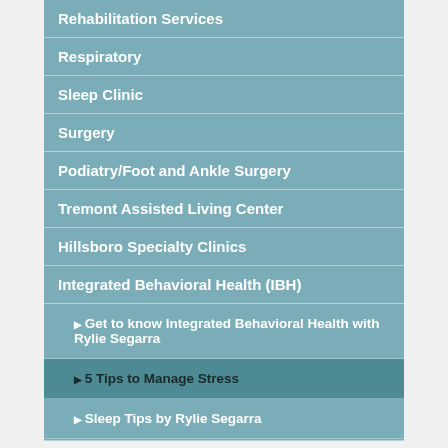Rehabilitation Services
Respiratory
Sleep Clinic
Surgery
Podiatry/Foot and Ankle Surgery
Tremont Assisted Living Center
Hillsboro Specialty Clinics
Integrated Behavioral Health (IBH)
Get to know Integrated Behavioral Health with Rylie Segarra
5 Tips to Manage Stress
Sleep Tips by Rylie Segarra